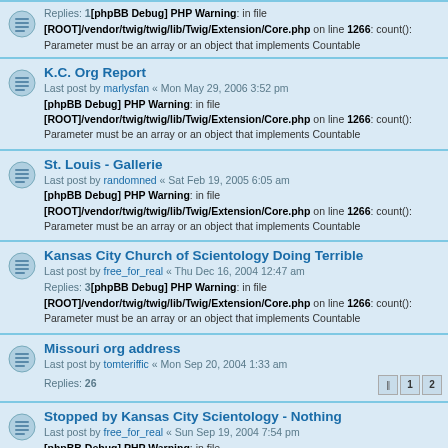Replies: 1[phpBB Debug] PHP Warning: in file [ROOT]/vendor/twig/twig/lib/Twig/Extension/Core.php on line 1266: count(): Parameter must be an array or an object that implements Countable
K.C. Org Report
Last post by marlysfan « Mon May 29, 2006 3:52 pm
[phpBB Debug] PHP Warning: in file [ROOT]/vendor/twig/twig/lib/Twig/Extension/Core.php on line 1266: count(): Parameter must be an array or an object that implements Countable
St. Louis - Gallerie
Last post by randomned « Sat Feb 19, 2005 6:05 am
[phpBB Debug] PHP Warning: in file [ROOT]/vendor/twig/twig/lib/Twig/Extension/Core.php on line 1266: count(): Parameter must be an array or an object that implements Countable
Kansas City Church of Scientology Doing Terrible
Last post by free_for_real « Thu Dec 16, 2004 12:47 am
Replies: 3[phpBB Debug] PHP Warning: in file [ROOT]/vendor/twig/twig/lib/Twig/Extension/Core.php on line 1266: count(): Parameter must be an array or an object that implements Countable
Missouri org address
Last post by tomteriffic « Mon Sep 20, 2004 1:33 am
Replies: 26
Stopped by Kansas City Scientology - Nothing
Last post by free_for_real « Sun Sep 19, 2004 7:54 pm
[phpBB Debug] PHP Warning: in file [ROOT]/vendor/twig/twig/lib/Twig/Extension/Core.php on line 1266: count(): Parameter must be an array or an object that implements Countable